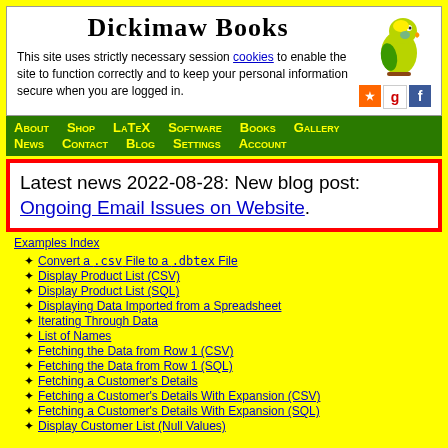Dickimaw Books
This site uses strictly necessary session cookies to enable the site to function correctly and to keep your personal information secure when you are logged in.
About  Shop  LaTeX  Software  Books  Gallery  News  Contact  Blog  Settings  Account
Latest news 2022-08-28: New blog post: Ongoing Email Issues on Website.
Examples Index
Convert a .csv File to a .dbtex File
Display Product List (CSV)
Display Product List (SQL)
Displaying Data Imported from a Spreadsheet
Iterating Through Data
List of Names
Fetching the Data from Row 1 (CSV)
Fetching the Data from Row 1 (SQL)
Fetching a Customer's Details
Fetching a Customer's Details With Expansion (CSV)
Fetching a Customer's Details With Expansion (SQL)
Display Customer List (Null Values)